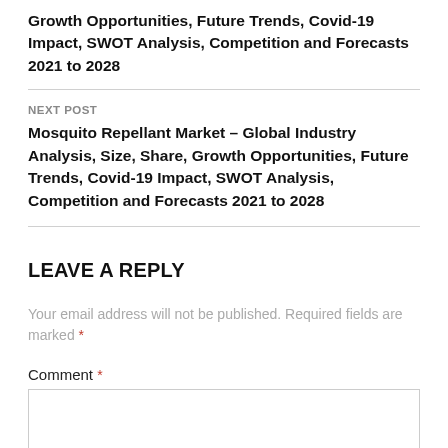Growth Opportunities, Future Trends, Covid-19 Impact, SWOT Analysis, Competition and Forecasts 2021 to 2028
NEXT POST
Mosquito Repellant Market – Global Industry Analysis, Size, Share, Growth Opportunities, Future Trends, Covid-19 Impact, SWOT Analysis, Competition and Forecasts 2021 to 2028
LEAVE A REPLY
Your email address will not be published. Required fields are marked *
Comment *